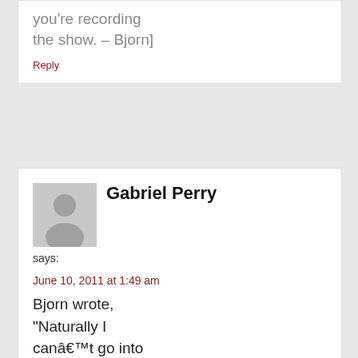you're recording the show. – Bjorn]
Reply
Gabriel Perry
says:
June 10, 2011 at 1:49 am
Bjorn wrote, “Naturally I canâ€™t go into detail right then and there about the importance of volume to get smooth tones from my beloved Big Muff so I gently tell him to